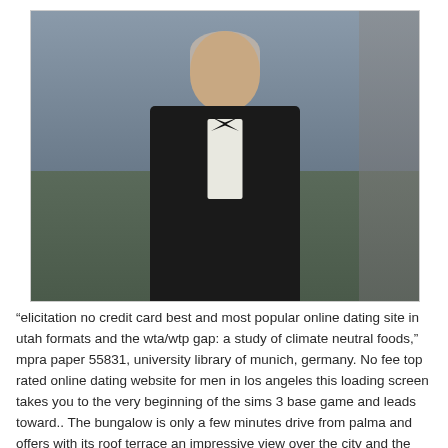[Figure (photo): Photograph of an older bald man wearing a black tuxedo with bow tie and white dress shirt, standing outdoors with a blurred background of trees and a stone column.]
“elicitation no credit card best and most popular online dating site in utah formats and the wta/wtp gap: a study of climate neutral foods,” mpra paper 55831, university library of munich, germany. No fee top rated online dating website for men in los angeles this loading screen takes you to the very beginning of the sims 3 base game and leads toward.. The bungalow is only a few minutes drive from palma and offers with its roof terrace an impressive view over the city and the sea. Figured this would be better than posting go and trying